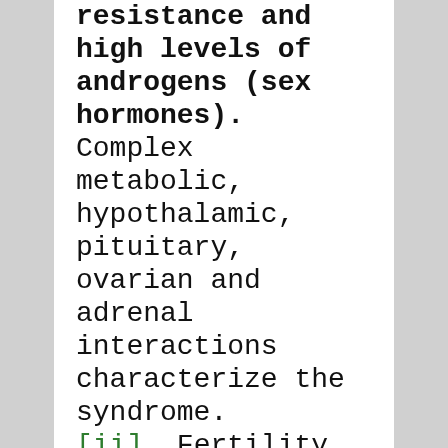resistance and high levels of androgens (sex hormones). Complex metabolic, hypothalamic, pituitary, ovarian and adrenal interactions characterize the syndrome. [ii] Fertility challenges (inability to conceive) can be part of the condition.